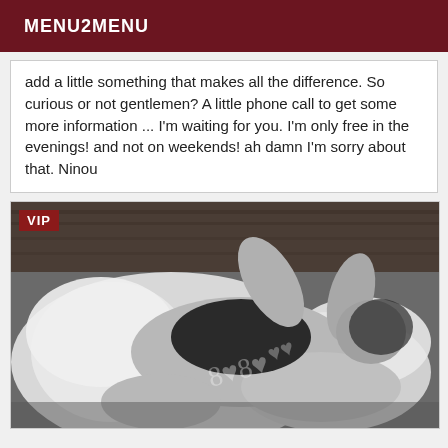MENU2MENU
add a little something that makes all the difference. So curious or not gentlemen? A little phone call to get some more information ... I'm waiting for you. I'm only free in the evenings! and not on weekends! ah damn I'm sorry about that. Ninou
[Figure (photo): Black and white photograph of a woman lying on a bed with white pillows, wearing a black top, with a VIP badge overlay in the top left corner]